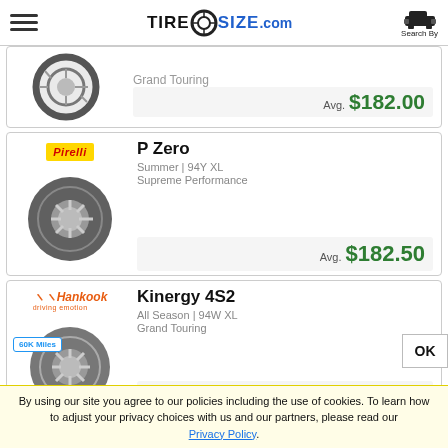TireSize.com — Search By
Grand Touring
Avg. $182.00
Pirelli P Zero — Summer | 94Y XL — Supreme Performance — Avg. $182.50
Hankook Kinergy 4S2 — All Season | 94W XL — Grand Touring — Avg. $184.00
By using our site you agree to our policies including the use of cookies. To learn how to adjust your privacy choices with us and our partners, please read our Privacy Policy.